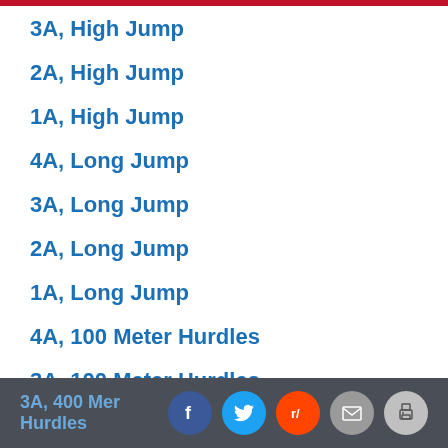3A, High Jump
2A, High Jump
1A, High Jump
4A, Long Jump
3A, Long Jump
2A, Long Jump
1A, Long Jump
4A, 100 Meter Hurdles
3A, 100 Meter Hurdles
2A, 100 Meter Hurdles
1A, 100 Meter Hurdles
4A, 400 Meter Hurdles
3A, 400 Meter Hurdles